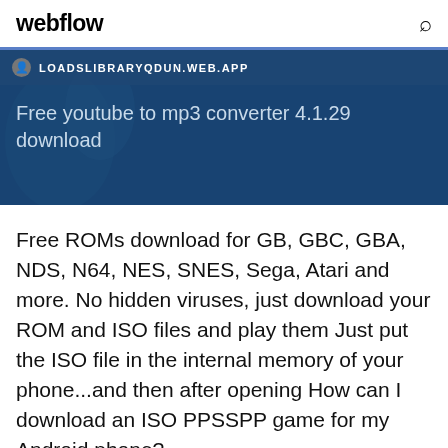webflow
[Figure (screenshot): A browser-style banner with a dark blue background showing a favicon, URL 'LOADSLIBRARYQDUN.WEB.APP', and text 'Free youtube to mp3 converter 4.1.29 download']
Free ROMs download for GB, GBC, GBA, NDS, N64, NES, SNES, Sega, Atari and more. No hidden viruses, just download your ROM and ISO files and play them Just put the ISO file in the internal memory of your phone...and then after opening How can I download an ISO PPSSPP game for my Android phone?